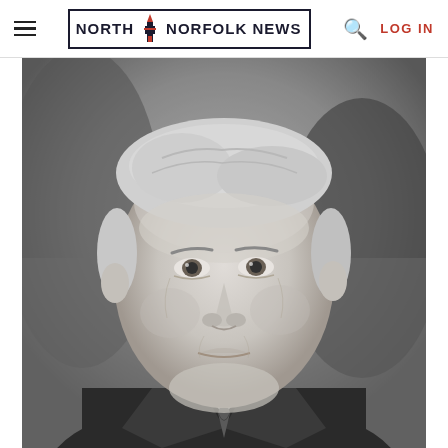North Norfolk News — LOG IN
[Figure (photo): Black and white portrait photograph of an older man in a suit and tie, looking directly at the camera. The man has light/white hair swept back, prominent features, and is wearing a dark jacket with a white shirt and dark striped tie. The background is dark and blurred.]